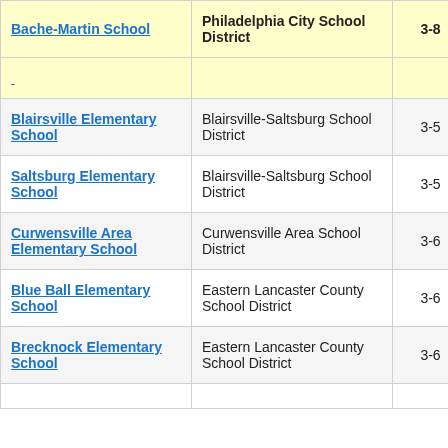| School | District | Grades |  |
| --- | --- | --- | --- |
| Bache-Martin School | Philadelphia City School District | 3-8 | 3. |
| (partially visible row) |  |  |  |
| Blairsville Elementary School | Blairsville-Saltsburg School District | 3-5 | 1. |
| Saltsburg Elementary School | Blairsville-Saltsburg School District | 3-5 | 3. |
| Curwensville Area Elementary School | Curwensville Area School District | 3-6 | 9. |
| Blue Ball Elementary School | Eastern Lancaster County School District | 3-6 | 3. |
| Brecknock Elementary School | Eastern Lancaster County School District | 3-6 | 2. |
| (partially visible row) |  |  |  |